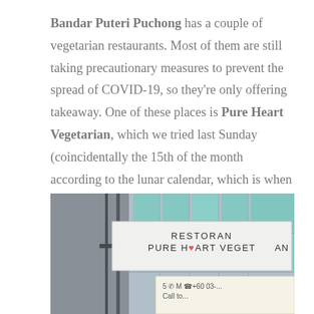Bandar Puteri Puchong has a couple of vegetarian restaurants. Most of them are still taking precautionary measures to prevent the spread of COVID-19, so they're only offering takeaway. One of these places is Pure Heart Vegetarian, which we tried last Sunday (coincidentally the 15th of the month according to the lunar calendar, which is when most Buddhists/ Taoists observe a vegetarian diet).
[Figure (photo): Street-level photo of a building signage reading 'RESTORAN PURE HEART VEGETARIAN' with a modern commercial building facade in the background showing teal/green glass panels.]